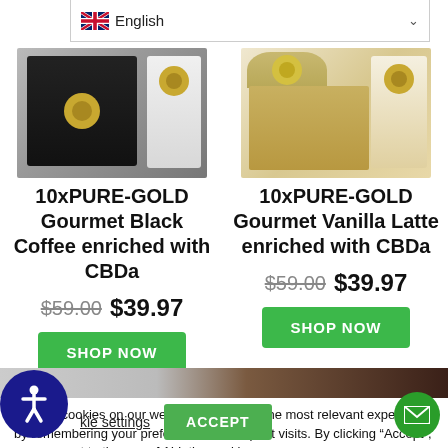[Figure (screenshot): Language selector dropdown showing UK flag and 'English' with dropdown arrow]
[Figure (photo): Product image: 10xPURE-GOLD Gourmet Black Coffee enriched with CBDa package]
10xPURE-GOLD Gourmet Black Coffee enriched with CBDa
$59.00 $39.97
SHOP NOW
[Figure (photo): Product image: 10xPURE-GOLD Gourmet Vanilla Latte enriched with CBDa package]
10xPURE-GOLD Gourmet Vanilla Latte enriched with CBDa
$59.00 $39.97
SHOP NOW
We use cookies on our website to give you the most relevant experience by remembering your preferences and repeat visits. By clicking “Accept”, you consent to the use of ALL the cookies.
Cookie settings
ACCEPT